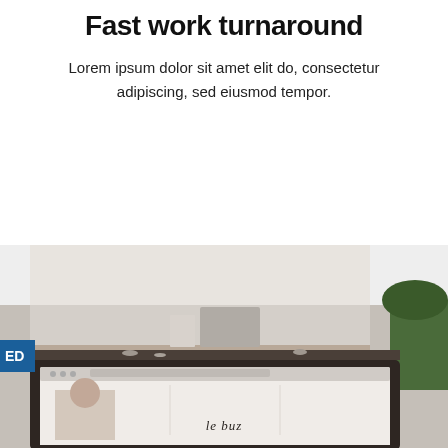Fast work turnaround
Lorem ipsum dolor sit amet elit do, consectetur adipiscing, sed eiusmod tempor.
[Figure (photo): A laptop/monitor on a desk showing a website with 'le buz' text, with an outdoor background. Partial 'ED' sign visible on left edge.]